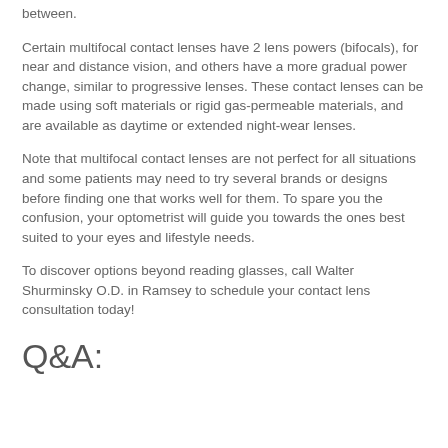between.
Certain multifocal contact lenses have 2 lens powers (bifocals), for near and distance vision, and others have a more gradual power change, similar to progressive lenses. These contact lenses can be made using soft materials or rigid gas-permeable materials, and are available as daytime or extended night-wear lenses.
Note that multifocal contact lenses are not perfect for all situations and some patients may need to try several brands or designs before finding one that works well for them. To spare you the confusion, your optometrist will guide you towards the ones best suited to your eyes and lifestyle needs.
To discover options beyond reading glasses, call Walter Shurminsky O.D. in Ramsey to schedule your contact lens consultation today!
Q&A: